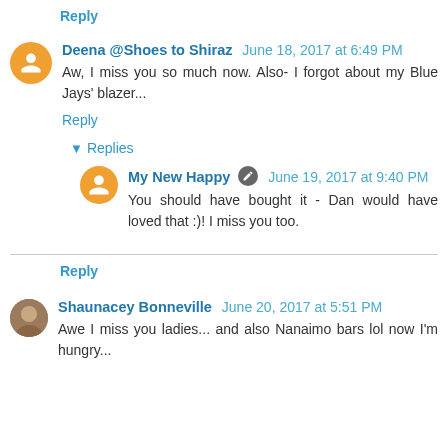Reply
Deena @Shoes to Shiraz  June 18, 2017 at 6:49 PM
Aw, I miss you so much now. Also- I forgot about my Blue Jays' blazer...
Reply
▾ Replies
My New Happy  June 19, 2017 at 9:40 PM
You should have bought it - Dan would have loved that :)! I miss you too.
Reply
Shaunacey Bonneville  June 20, 2017 at 5:51 PM
Awe I miss you ladies... and also Nanaimo bars lol now I'm hungry...